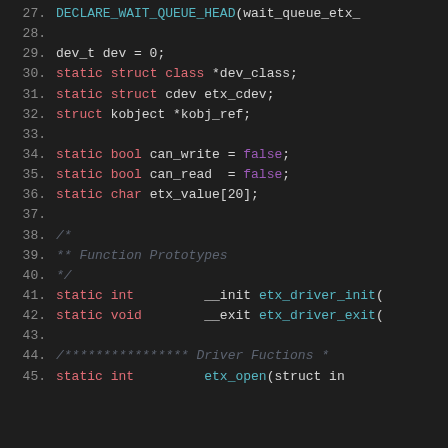[Figure (screenshot): Code editor screenshot showing C source code lines 27-45 with syntax highlighting on dark background. Keywords in red/pink, values in purple, function names in cyan. Lines include DECLARE_WAIT_QUEUE_HEAD, dev_t, static struct, bool, char variable declarations, a block comment for Function Prototypes, static int __init etx_driver_init and static void __exit etx_driver_exit declarations, and start of Driver Fuctions comment and etx_open function.]
[Figure (screenshot): Advertisement overlay at the bottom of the page for Lidl Groceries showing Lidl logo, text 'Lidl Groceries Are Low-Priced', 'Lidl', a navigation/directions icon, a play triangle icon and an X icon.]